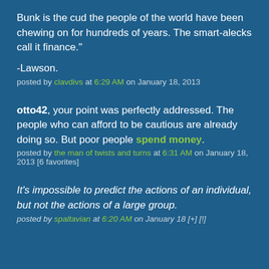Bunk is the cud the people of the world have been chewing on for hundreds of years. The smart-alecks call it finance."
-Lawson.
posted by clavdivs at 6:29 AM on January 18, 2013
otto42, your point was perfectly addressed. The people who can afford to be cautious are already doing so. But poor people spend money.
posted by the man of twists and turns at 6:31 AM on January 18, 2013 [6 favorites]
It's impossible to predict the actions of an individual, but not the actions of a large group.
posted by spaltavian at 6:20 AM on January 18 [+] [!]